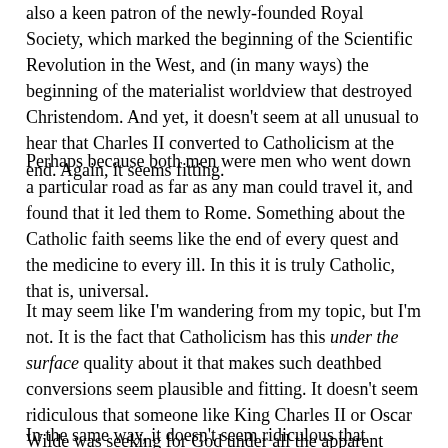also a keen patron of the newly-founded Royal Society, which marked the beginning of the Scientific Revolution in the West, and (in many ways) the beginning of the materialist worldview that destroyed Christendom. And yet, it doesn't seem at all unusual to hear that Charles II converted to Catholicism at the end. Again, it seems fitting.
Perhaps because both men were men who went down a particular road as far as any man could travel it, and found that it led them to Rome. Something about the Catholic faith seems like the end of every quest and the medicine to every ill. In this it is truly Catholic, that is, universal.
It may seem like I'm wandering from my topic, but I'm not. It is the fact that Catholicism has this under the surface quality about it that makes such deathbed conversions seem plausible and fitting. It doesn't seem ridiculous that someone like King Charles II or Oscar Wilde was seeking for God under all the apparent riotousness of their lives, under the surface.
In the same way, it doesn't seem ridiculous that converts to